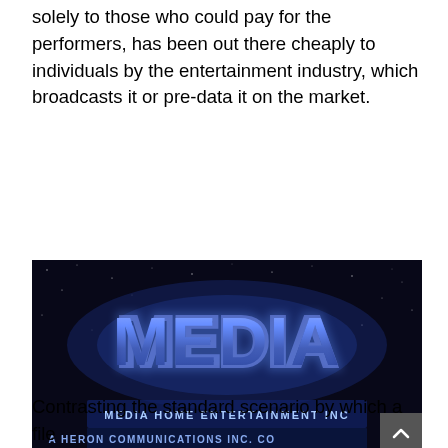solely to those who could pay for the performers, has been out there cheaply to individuals by the entertainment industry, which broadcasts it or pre-data it on the market.
[Figure (photo): Screenshot of a retro-style logo reading 'MEDIA' in large glowing blue chrome letters against a dark starfield background, with text below reading 'MEDIA HOME ENTERTAINMENT INC' and 'A HERON COMMUNICATIONS INC. CO']
Contrasting the standard scenario by which a file